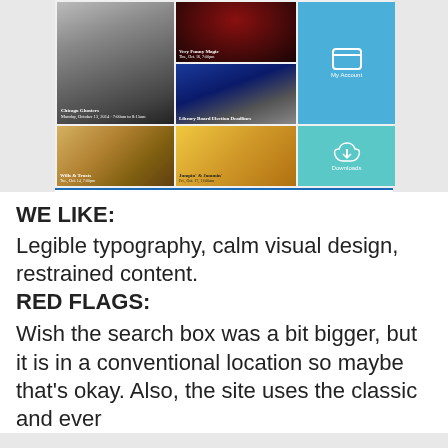[Figure (screenshot): Screenshot of a library website showing a grid of images including Chicago Ghosters event, Very Funny Magic event, Library Board Election Deadlines, Wills & Trusts, Jumping & Jammin event, My Account button, Downloads button, and a row of New & Upcoming Feature Films movie thumbnails.]
WE LIKE: Legible typography, calm visual design, restrained content. RED FLAGS: Wish the search box was a bit bigger, but it is in a conventional location so maybe that's okay. Also, the site uses the classic and ever